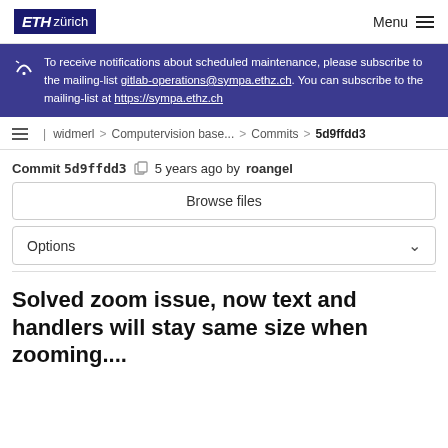ETH zürich | Menu
To receive notifications about scheduled maintenance, please subscribe to the mailing-list gitlab-operations@sympa.ethz.ch. You can subscribe to the mailing-list at https://sympa.ethz.ch
widmerl > Computervision base... > Commits > 5d9ffdd3
Commit 5d9ffdd3  5 years ago by roangel
Browse files
Options
Solved zoom issue, now text and handlers will stay same size when zooming....